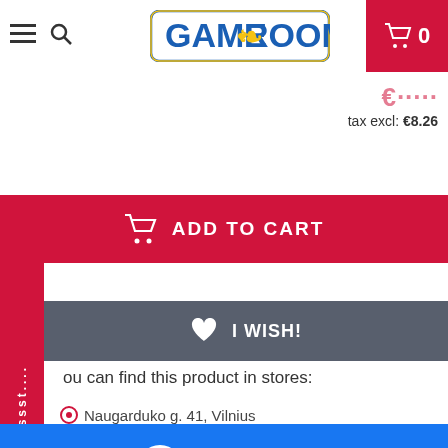[Figure (screenshot): Game Room e-commerce website screenshot showing header with logo, add to cart button, I wish button, product store locations, Start chat overlay, and cookie consent notice]
tax excl: €8.26
ADD TO CART
I WISH!
Psssst....
ou can find this product in stores:
Naugarduko g. 41, Vilnius
Start chat
We use cookies to ensure that we give you the best experience on our website. More information on our privacy policy page.
In stock
Baltų pr. 11-1, Kaunas
OK